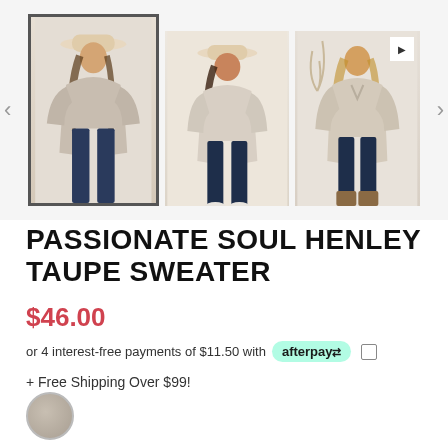[Figure (photo): Product gallery showing three photos of a woman wearing a taupe/beige henley sweater with dark jeans. First image is selected/highlighted with border. Navigation arrows on left and right. Third image has a video play button icon.]
PASSIONATE SOUL HENLEY TAUPE SWEATER
$46.00
or 4 interest-free payments of $11.50 with afterpay
+ Free Shipping Over $99!
[Figure (other): Taupe/beige color swatch circle at bottom left]